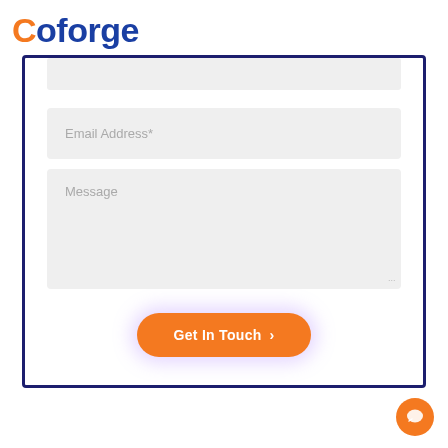[Figure (logo): Coforge logo with orange C and blue text 'oforge']
[Figure (screenshot): Contact form with Email Address field, Message textarea, and orange 'Get In Touch >' button inside a dark navy blue bordered container]
[Figure (other): Orange circular chat support button in bottom right corner]